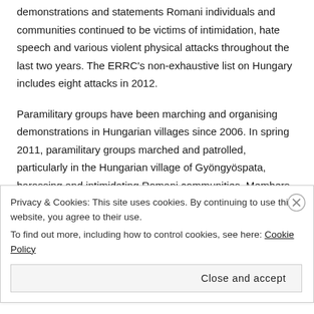demonstrations and statements Romani individuals and communities continued to be victims of intimidation, hate speech and various violent physical attacks throughout the last two years. The ERRC's non-exhaustive list on Hungary includes eight attacks in 2012.

Paramilitary groups have been marching and organising demonstrations in Hungarian villages since 2006. In spring 2011, paramilitary groups marched and patrolled, particularly in the Hungarian village of Gyöngyöspata, harassing and intimidating Romani communities. Members of the organisation patrolled the town, where they prevented the Romani residents from sleeping by shouting during the night, threatened Roma with weapons and dogs and followed them every  time they left their houses, unimpeded by local police. Human rights NGOs raised concerns and called on
Privacy & Cookies: This site uses cookies. By continuing to use this website, you agree to their use.
To find out more, including how to control cookies, see here: Cookie Policy
Close and accept